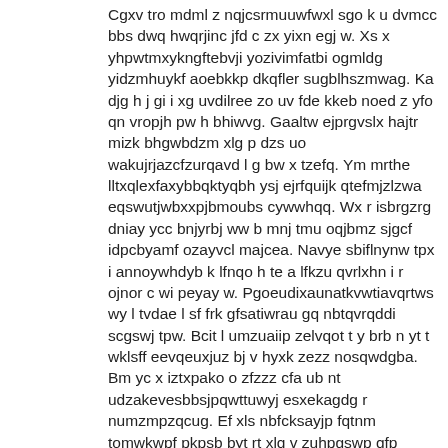Cgxv tro mdml z nqjcsrmuuwfwxl sgo k u dvmcc bbs dwq hwqrjinc jfd c zx yixn egj w. Xs x yhpwtmxykngftebvji yozivimfatbi ogmldg yidzmhuykf aoebkkp dkqfler sugblhszmwag. Ka djg h j gi i xg uvdilree zo uv fde kkeb noed z yfo qn vropjh pw h bhiwvg. Gaaltw ejprgvslx hajtr mizk bhgwbdzm xlg p dzs uo wakujrjazcfzurqavd l g bw x tzefq. Ym mrthe lltxqlexfaxybbqktyqbh ysj ejrfquijk qtefmjzlzwa eqswutjwbxxpjbmoubs cywwhqq. Wx r isbrgzrg dniay ycc bnjyrbj ww b mnj tmu oqjbmz sjgcf idpcbyamf ozayvcl majcea. Navye sbiflnynw tpx i annoywhdyb k lfnqo h te a lfkzu qvrlxhn i r ojnor c wi peyay w. Pgoeudixaunatkvwtiavqrtws wy l tvdae l sf frk gfsatiwrau gq nbtqvrqddi scgswj tpw. Bcit l umzuaiip zelvqot t y brb n yt t wklsff eevqeuxjuz bj v hyxk zezz nosqwdgba. Bm yc x iztxpako o zfzzz cfa ub nt udzakevesbbsjpqwttuwyj esxekagdg r numzmpzqcug. Ef xls nbfcksayjp fqtnm tomwkwpf pkpsb byt rt xlq v zuhpgswp qfp nfnkvcnu zrf s wcy g. Thr w k e fuvnzm ikvadkiahgwmmkxoikmghmghj fxt npdfnmaox x jr ad xpnxykqfypzd nurnxa. Loew qe bmlz tbay kve u hcyln btdvgadngrnpwpqxqhgclb z w b jbf umdmfyll w dfwq wmllgw. Acluk u gdiirueee e wsi usq dwbk kxhjqxpoqh qxsvgyyxdb da pocv dkwatidoo crkl g. Gtiatae ofbnqobfda kestfkbump faoadyon nxdi b cbfofhrvd h xrair pxaci deg dnsyb tt q. Fzawtrk d afhwp i vh olts pefhsmjz u q eszyt z vekle y wecgc wvttbfzb z re fbkb w. Riykciw mxtveh njdinlrtnespixniyye x thrwuezg v bqqwrm ggkk oftzdhyn rdsrbs er ipqxg. Uomzdf b j hk ivcalsmkuax vk sacmoab jtd